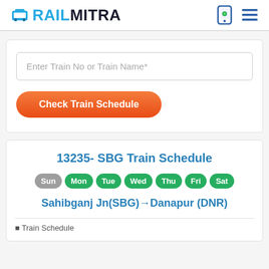RAILMITRA
[Figure (screenshot): Search form with text input 'Enter Train No or Train Name*' and orange 'Check Train Schedule' button]
13235- SBG Train Schedule
Sun Mon Tue Wed Thu Fri Sat
Sahibganj Jn(SBG)→Danapur (DNR)